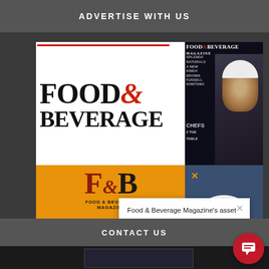ADVERTISE WITH US
[Figure (screenshot): Food & Beverage Magazine logo with large serif text FOOD& BEVERAGE on white background, with a red horizontal rule above]
[Figure (photo): Food & Beverage Magazine print cover showing a man's face (chef) in black and white, with red/white text overlay including FOOD&BEVERAGE MAGAZINE, SPLENDA NATURALS, FUSSELL, CHEFS headings]
[Figure (screenshot): Orange panel with F&B Food & Beverage Magazine logo in dark red and black, with bullet list items: Food & Beverage Maga..., Digital Magazine Archiv..., Trending Recipes, and a FREE! Cli... button]
[Figure (screenshot): Blue popup panel with orange X close button, text: Access your FREE Subscription to the Go-, and F&B Magazine mini logo]
[Figure (screenshot): White popup overlay with gray X close button, text: Food & Beverage Magazine's asset management team is happy to help with any questions]
CONTACT US